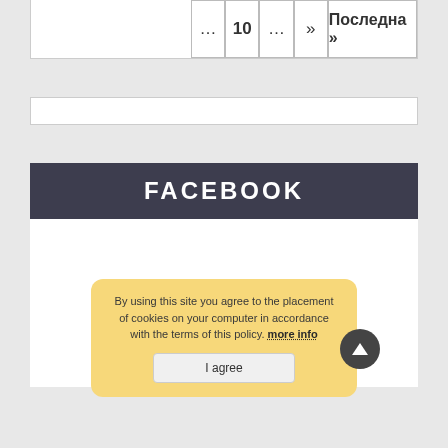... 10 ... » Последна »
FACEBOOK
By using this site you agree to the placement of cookies on your computer in accordance with the terms of this policy. more info
I agree